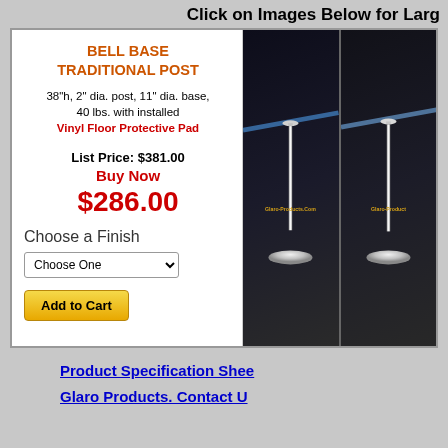Click on Images Below for Larg
BELL BASE TRADITIONAL POST
38"h, 2" dia. post, 11" dia. base, 40 lbs. with installed Vinyl Floor Protective Pad
List Price: $381.00
Buy Now
$286.00
Choose a Finish
[Figure (photo): Stanchion bell base traditional post in polished chrome finish with rope, on dark background, Glaro-Products.Com watermark]
[Figure (photo): Second stanchion bell base post in polished chrome finish, partial view, on dark background, Glaro-Product watermark]
Product Specification Shee
Glaro Products. Contact U